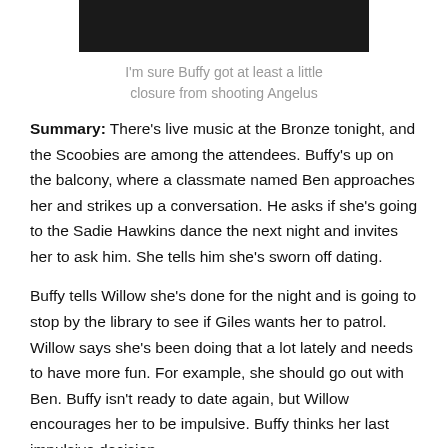[Figure (photo): Dark image, appears to be a screenshot from a TV show, mostly black with a faint figure visible]
I'm sure Buffy got at least a little closure from shooting Angelus
Summary: There's live music at the Bronze tonight, and the Scoobies are among the attendees. Buffy's up on the balcony, where a classmate named Ben approaches her and strikes up a conversation. He asks if she's going to the Sadie Hawkins dance the next night and invites her to ask him. She tells him she's sworn off dating.
Buffy tells Willow she's done for the night and is going to stop by the library to see if Giles wants her to patrol. Willow says she's been doing that a lot lately and needs to have more fun. For example, she should go out with Ben. Buffy isn't ready to date again, but Willow encourages her to be impulsive. Buffy thinks her last impulsive decision,